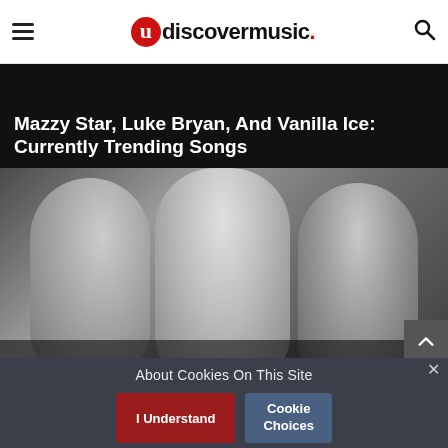uDiscoverMusic navigation bar with hamburger menu and search icon
Mazzy Star, Luke Bryan, And Vanilla Ice: Currently Trending Songs
[Figure (photo): Black and white photo of three people posing together, two women and one man in the center wearing large glasses and an open shirt with a medallion. White text overlay reads 'The Most Surprising Musical Friendships']
The Most Surprising Musical Friendships
About Cookies On This Site
I Understand
Cookie Choices